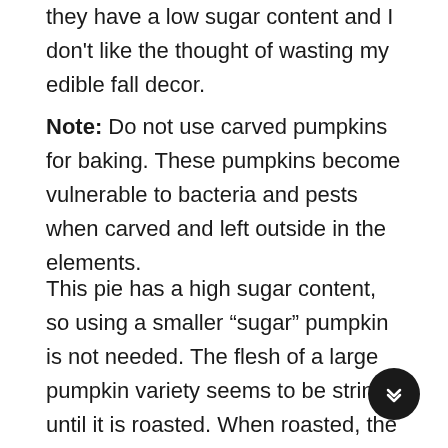they have a low sugar content and I don't like the thought of wasting my edible fall decor.
Note: Do not use carved pumpkins for baking. These pumpkins become vulnerable to bacteria and pests when carved and left outside in the elements.
This pie has a high sugar content, so using a smaller “sugar” pumpkin is not needed. The flesh of a large pumpkin variety seems to be stringy until it is roasted. When roasted, the flesh becomes “mashed” with tiny bits of pumpkin mixed in. We want those pieces of pumpkin in this